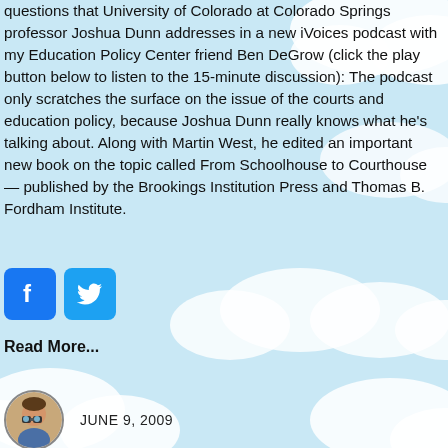questions that University of Colorado at Colorado Springs professor Joshua Dunn addresses in a new iVoices podcast with my Education Policy Center friend Ben DeGrow (click the play button below to listen to the 15-minute discussion): The podcast only scratches the surface on the issue of the courts and education policy, because Joshua Dunn really knows what he's talking about. Along with Martin West, he edited an important new book on the topic called From Schoolhouse to Courthouse — published by the Brookings Institution Press and Thomas B. Fordham Institute.
[Figure (illustration): Facebook and Twitter social sharing icon buttons]
Read More...
[Figure (photo): Circular author avatar showing a person with binoculars]
JUNE 9, 2009